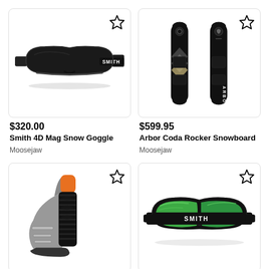[Figure (photo): Smith 4D Mag Snow Goggle - black goggle with dark lens and SMITH branding on strap]
[Figure (photo): Arbor Coda Rocker Snowboard - two black snowboard decks with chevron design and ARBOR text]
$320.00
Smith 4D Mag Snow Goggle
Moosejaw
$599.95
Arbor Coda Rocker Snowboard
Moosejaw
[Figure (photo): Ski boot with orange and black boot fitter/stretcher tool inserted]
[Figure (photo): Smith ski goggle with green mirror lens and black strap with SMITH branding]